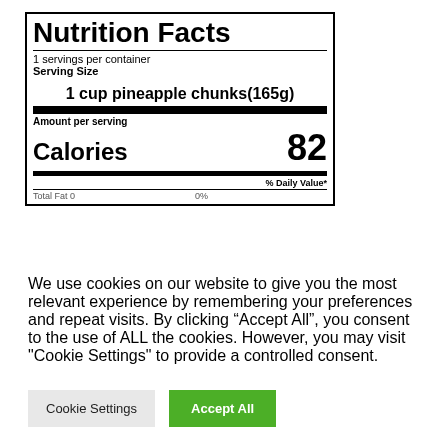Nutrition Facts
1 servings per container
Serving Size
1 cup pineapple chunks(165g)
Amount per serving
Calories 82
% Daily Value*
We use cookies on our website to give you the most relevant experience by remembering your preferences and repeat visits. By clicking “Accept All”, you consent to the use of ALL the cookies. However, you may visit "Cookie Settings" to provide a controlled consent.
Cookie Settings
Accept All